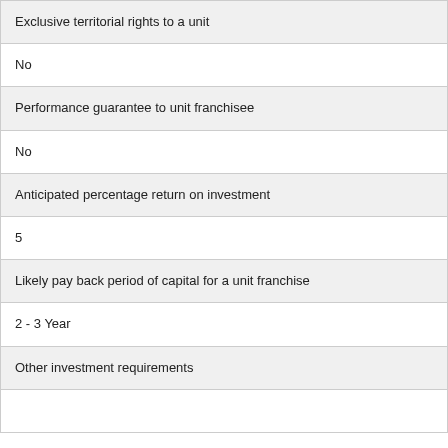| Exclusive territorial rights to a unit |
| No |
| Performance guarantee to unit franchisee |
| No |
| Anticipated percentage return on investment |
| 5 |
| Likely pay back period of capital for a unit franchise |
| 2 - 3 Year |
| Other investment requirements |
|  |